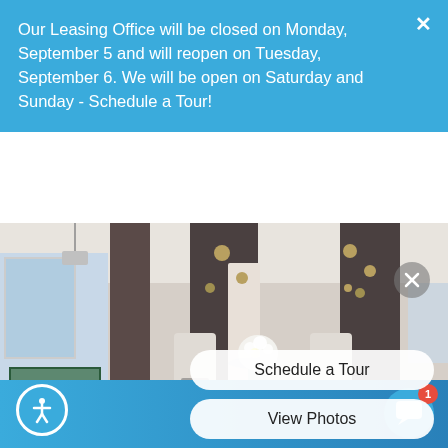Our Leasing Office will be closed on Monday, September 5 and will reopen on Tuesday, September 6. We will be open on Saturday and Sunday - Schedule a Tour!
[Figure (photo): Interior lobby of an apartment community with high ceilings, dark accent walls with decorative sunburst art, white wingback chairs, a marble pedestal table with floral arrangement, blue geometric rug, and hardwood floors. A game room with a pool table is visible on the left.]
Schedule a Tour
View Photos
Prices / Availability